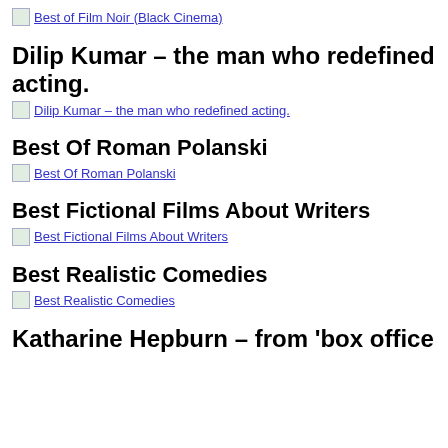[Figure (other): Thumbnail image link: Best of Film Noir (Black Cinema)]
Dilip Kumar – the man who redefined acting.
[Figure (other): Thumbnail image link: Dilip Kumar – the man who redefined acting.]
Best Of Roman Polanski
[Figure (other): Thumbnail image link: Best Of Roman Polanski]
Best Fictional Films About Writers
[Figure (other): Thumbnail image link: Best Fictional Films About Writers]
Best Realistic Comedies
[Figure (other): Thumbnail image link: Best Realistic Comedies]
Katharine Hepburn – from 'box office